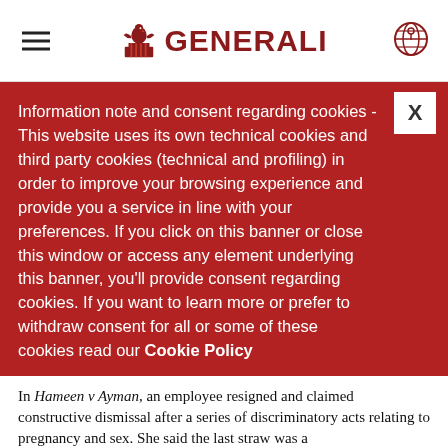GENERALI (logo with eagle)
Information note and consent regarding cookies - This website uses its own technical cookies and third party cookies (technical and profiling) in order to improve your browsing experience and provide you a service in line with your preferences. If you click on this banner or close this window or access any element underlying this banner, you'll provide consent regarding cookies. If you want to learn more or prefer to withdraw consent for all or some of these cookies read our Cookie Policy
In Hameen v Ayman, an employee resigned and claimed constructive dismissal after a series of discriminatory acts relating to pregnancy and sex. She said the last straw was a